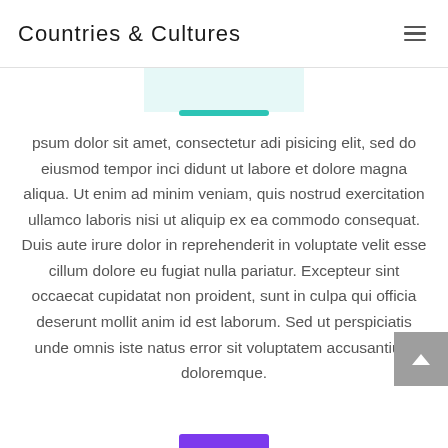Countries & Cultures
psum dolor sit amet, consectetur adi pisicing elit, sed do eiusmod tempor inci didunt ut labore et dolore magna aliqua. Ut enim ad minim veniam, quis nostrud exercitation ullamco laboris nisi ut aliquip ex ea commodo consequat. Duis aute irure dolor in reprehenderit in voluptate velit esse cillum dolore eu fugiat nulla pariatur. Excepteur sint occaecat cupidatat non proident, sunt in culpa qui officia deserunt mollit anim id est laborum. Sed ut perspiciatis unde omnis iste natus error sit voluptatem accusantium doloremque.